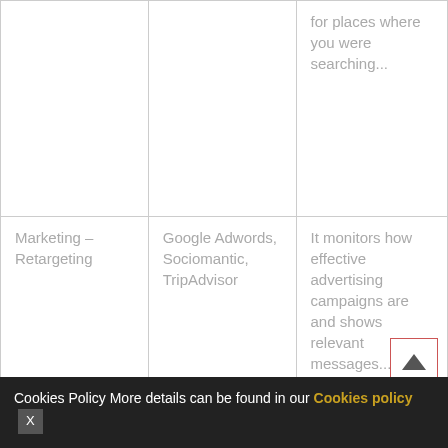|  |  | for places where you were searching... |
| Marketing – Retargeting | Google Adwords, Sociomantic, TripAdvisor | It monitors how effective advertising campaigns are and shows relevant messages... |
Our website and e-mails in HTML format might use web bugs and/or cookies to compile statistics about the use of the aforementioned website. A web bug is an image in a message... viewed, purely for the purpose of gathering use-related
Cookies Policy More details can be found in our Cookies policy  X